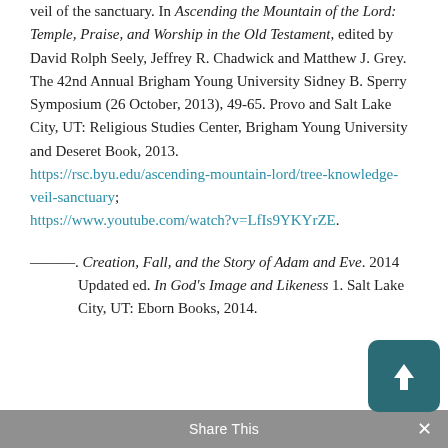veil of the sanctuary. In Ascending the Mountain of the Lord: Temple, Praise, and Worship in the Old Testament, edited by David Rolph Seely, Jeffrey R. Chadwick and Matthew J. Grey. The 42nd Annual Brigham Young University Sidney B. Sperry Symposium (26 October, 2013), 49-65. Provo and Salt Lake City, UT: Religious Studies Center, Brigham Young University and Deseret Book, 2013. https://rsc.byu.edu/ascending-mountain-lord/tree-knowledge-veil-sanctuary; https://www.youtube.com/watch?v=LfIs9YKYrZE.
———. Creation, Fall, and the Story of Adam and Eve. 2014 Updated ed. In God's Image and Likeness 1. Salt Lake City, UT: Eborn Books, 2014.